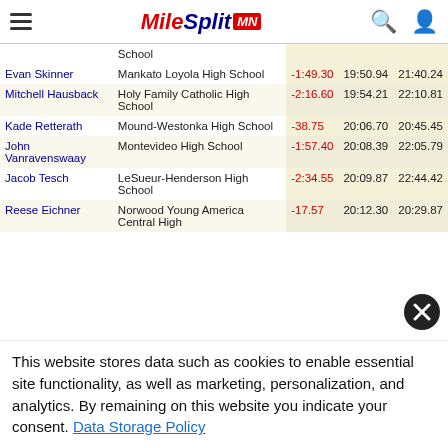MileSplit MN
| Name | School | Diff | Time1 | Time2 |
| --- | --- | --- | --- | --- |
|  | School |  |  |  |
| Evan Skinner | Mankato Loyola High School | -1:49.30 | 19:50.94 | 21:40.24 |
| Mitchell Hausback | Holy Family Catholic High School | -2:16.60 | 19:54.21 | 22:10.81 |
| Kade Retterath | Mound-Westonka High School | -38.75 | 20:06.70 | 20:45.45 |
| John Vanravenswaay | Montevideo High School | -1:57.40 | 20:08.39 | 22:05.79 |
| Jacob Tesch | LeSueur-Henderson High School | -2:34.55 | 20:09.87 | 22:44.42 |
| Reese Eichner | Norwood Young America Central High | -17.57 | 20:12.30 | 20:29.87 |
This website stores data such as cookies to enable essential site functionality, as well as marketing, personalization, and analytics. By remaining on this website you indicate your consent. Data Storage Policy